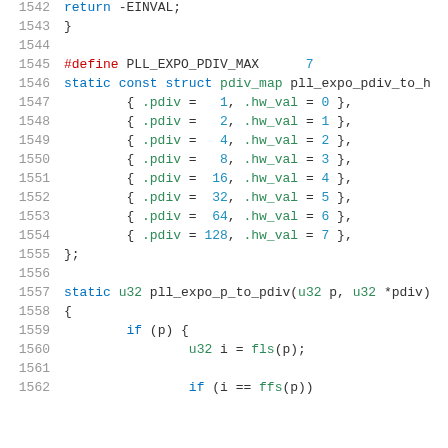1542    return -EINVAL;
1543    }
1544
1545    #define PLL_EXPO_PDIV_MAX        7
1546    static const struct pdiv_map pll_expo_pdiv_to_h
1547            { .pdiv =   1, .hw_val = 0 },
1548            { .pdiv =   2, .hw_val = 1 },
1549            { .pdiv =   4, .hw_val = 2 },
1550            { .pdiv =   8, .hw_val = 3 },
1551            { .pdiv =  16, .hw_val = 4 },
1552            { .pdiv =  32, .hw_val = 5 },
1553            { .pdiv =  64, .hw_val = 6 },
1554            { .pdiv = 128, .hw_val = 7 },
1555    };
1556
1557    static u32 pll_expo_p_to_pdiv(u32 p, u32 *pdiv)
1558    {
1559            if (p) {
1560                    u32 i = fls(p);
1561
1562                    if (i == ffs(p))